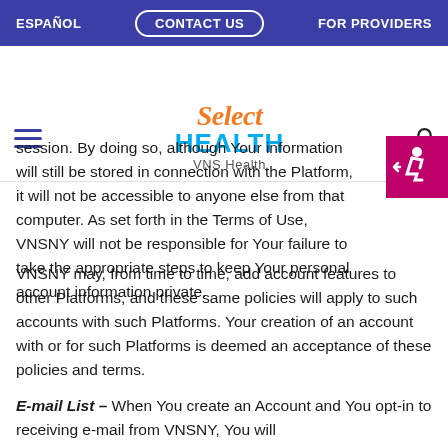ESPAÑOL | CONTACT US | FOR PROVIDERS
[Figure (logo): Select Health VNS Health logo with hamburger menu and search icon]
session. By doing so, although Your information will still be stored in connection with the Platform, it will not be accessible to anyone else from that computer. As set forth in the Terms of Use, VNSNY will not be responsible for Your failure to take the appropriate steps to keep Your personal account information private.
VNSNY may, from time to time, add account features to other Platforms, and these same policies will apply to such accounts with such Platforms. Your creation of an account with or for such Platforms is deemed an acceptance of these policies and terms.
E-mail List – When You create an Account and You opt-in to receiving e-mail from VNSNY, You will